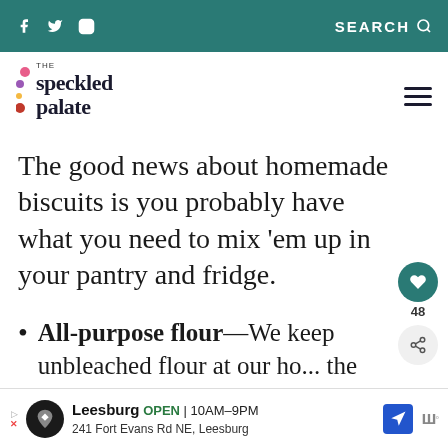f  [twitter]  [instagram]  SEARCH
[Figure (logo): The Speckled Palate logo with colorful dots and serif wordmark]
The good news about homemade biscuits is you probably have what you need to mix 'em up in your pantry and fridge.
All-purpose flour—We keep unbleached flour at our ho... the regular 'ol kind works here, too.
[Figure (screenshot): What's Next: Cream Biscuits and... promotional overlay with thumbnail image]
[Figure (other): Advertisement: Leesburg OPEN 10AM-9PM, 241 Fort Evans Rd NE, Leesburg]